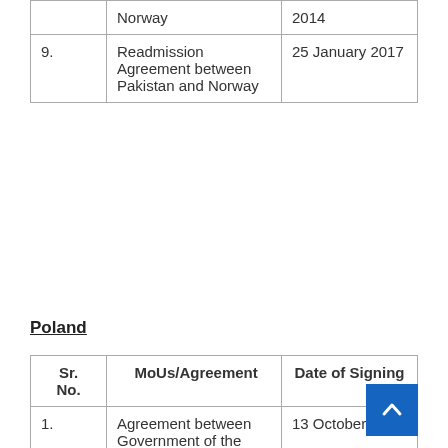| Sr. No. | MoUs/Agreement | Date of Signing |
| --- | --- | --- |
|  | Norway | 2014 |
| 9. | Readmission Agreement between Pakistan and Norway | 25 January 2017 |
Poland
| Sr. No. | MoUs/Agreement | Date of Signing |
| --- | --- | --- |
| 1. | Agreement between Government of the Islamic Republic of Pakistan and the Republic of Poland relating to Air Services. | 13 October 1970 |
|  | Convention between the Islamic Republic of Pakist... | 25... |